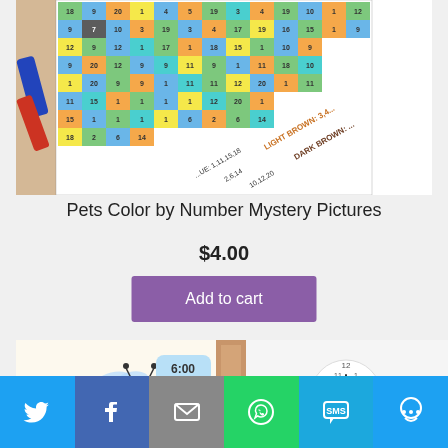[Figure (photo): Color by number mystery picture worksheet with a grid of numbered cells in various colors (blue, green, orange, yellow, teal) with crayons on a wooden table. Color key visible at bottom right showing LIGHT BROWN and DARK BROWN with number codes.]
Pets Color by Number Mystery Pictures
$4.00
Add to cart
[Figure (photo): Related product image showing a bee with '6:00' speech bubble, a flower-shaped clock, and a wooden block, partial purple add to cart button visible on right.]
Social share bar with Twitter, Facebook, Email, WhatsApp, SMS, and More buttons